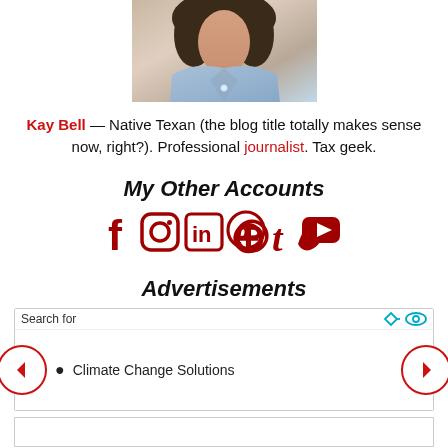[Figure (photo): Partial photo of a woman in a light blue top, cropped from shoulders up, dark hair visible]
Kay Bell — Native Texan (the blog title totally makes sense now, right?). Professional journalist. Tax geek.
My Other Accounts
[Figure (infographic): Social media icons row: Facebook, Instagram, LinkedIn, Pinterest, Tumblr, Twitter, YouTube — all in dark red/crimson color]
Advertisements
Search for
Climate Change Solutions